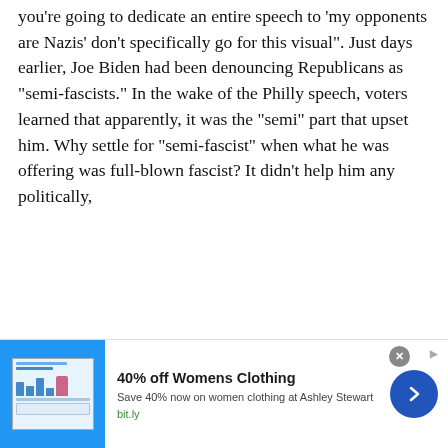you're going to dedicate an entire speech to 'my opponents are Nazis' don't specifically go for this visual". Just days earlier, Joe Biden had been denouncing Republicans as "semi-fascists." In the wake of the Philly speech, voters learned that apparently, it was the "semi" part that upset him. Why settle for "semi-fascist" when what he was offering was full-blown fascist? It didn't help him any politically,
Can... inju... fro... rem... larg... lies
[Figure (screenshot): Amazon.com Gift Cards advertisement popup overlay showing gift card images: happy birthday card, amazonkindle card, and Congratulations card. Has a close X button in top right.]
[Figure (screenshot): Bottom banner ad: 40% off Womens Clothing. Save 40% now on women clothing at Ashley Stewart. bit.ly. Shows a blue image with a mock website screenshot and a figure illustration.]